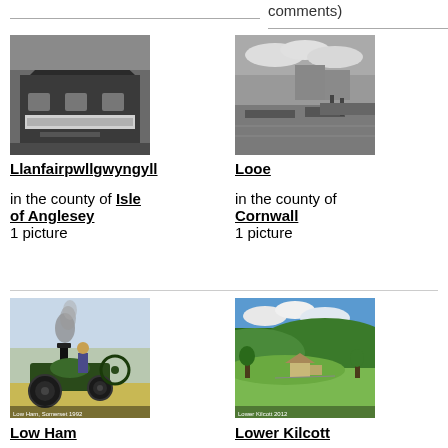comments)
[Figure (photo): Black and white photo of a building in Llanfairpwllgwyngyll]
Llanfairpwllgwyngyll
in the county of Isle of Anglesey
1 picture
[Figure (photo): Black and white photo of a harbour in Looe]
Looe
in the county of Cornwall
1 picture
[Figure (photo): Color photo of a steam traction engine at Low Ham]
Low Ham
in the county of Somerset
8 pictures
[Figure (photo): Color photo of a green valley at Lower Kilcott]
Lower Kilcott
in the county of Gloucestershire
18 pictures (2 comments)